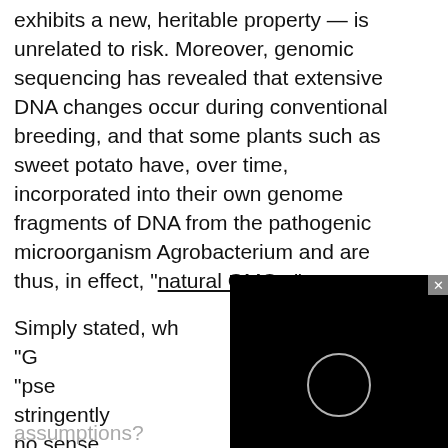exhibits a new, heritable property — is unrelated to risk. Moreover, genomic sequencing has revealed that extensive DNA changes occur during conventional breeding, and that some plants such as sweet potato have, over time, incorporated into their own genome fragments of DNA from the pathogenic microorganism Agrobacterium and are thus, in effect, "natural GMOs."
Simply stated, whether we are talking about editing or not, "GMO" is a scientifically meaningless "pseudocategory." Applying it more stringently to gene-edited products makes no sense. It cannot serve as a scientific basis for regulatory policy without committing ourselves to a game of, "How stupid and irrational do we intend to be?" In other words, where is the limit on accepting false
[Figure (other): Black video player overlay with a circular loading/play indicator and a close (x) button in the upper right corner]
assumptions?